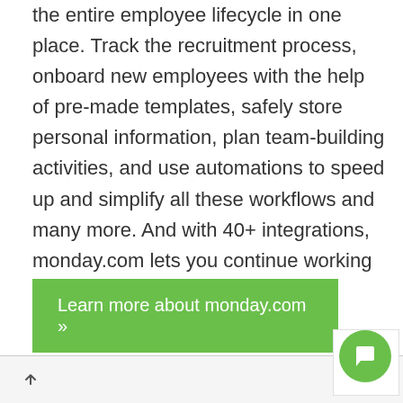the entire employee lifecycle in one place. Track the recruitment process, onboard new employees with the help of pre-made templates, safely store personal information, plan team-building activities, and use automations to speed up and simplify all these workflows and many more. And with 40+ integrations, monday.com lets you continue working with your favorite tools within the platform.
Learn more about monday.com »
[Figure (other): Green circular chat/support button in bottom right corner]